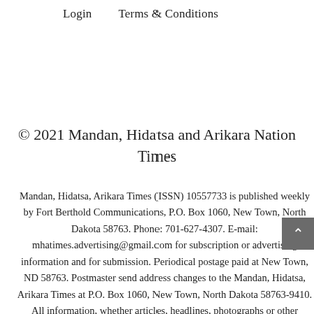Login    Terms & Conditions
© 2021 Mandan, Hidatsa and Arikara Nation Times
Mandan, Hidatsa, Arikara Times (ISSN) 10557733 is published weekly by Fort Berthold Communications, P.O. Box 1060, New Town, North Dakota 58763. Phone: 701-627-4307. E-mail: mhatimes.advertising@gmail.com for subscription or advertising information and for submission. Periodical postage paid at New Town, ND 58763. Postmaster send address changes to the Mandan, Hidatsa, Arikara Times at P.O. Box 1060, New Town, North Dakota 58763-9410. All information, whether articles, headlines, photographs or other material used in this